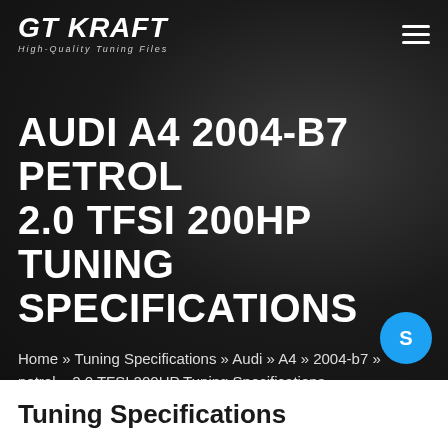GT KRAFT — High-Quality Tuning Files
AUDI A4 2004-B7 PETROL 2.0 TFSI 200HP TUNING SPECIFICATIONS
Home » Tuning Specifications » Audi » A4 » 2004-b7 » petrol » 2.0 TFSI 200HP Tuning Specifications
Tuning Specifications